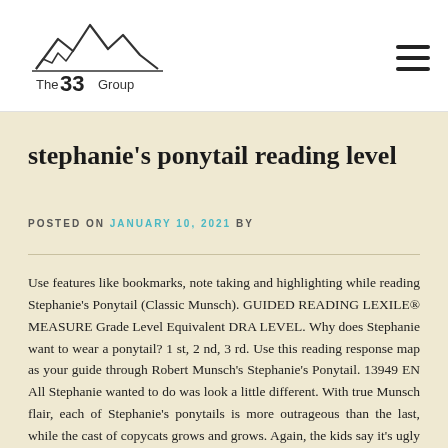[Figure (logo): The 33 Group logo with mountain silhouette and bold text]
stephanie's ponytail reading level
POSTED ON JANUARY 10, 2021 BY
Use features like bookmarks, note taking and highlighting while reading Stephanie's Ponytail (Classic Munsch). GUIDED READING LEXILE® MEASURE Grade Level Equivalent DRA LEVEL. Why does Stephanie want to wear a ponytail? 1 st, 2 nd, 3 rd. Use this reading response map as your guide through Robert Munsch's Stephanie's Ponytail. 13949 EN All Stephanie wanted to do was look a little different. With true Munsch flair, each of Stephanie's ponytails is more outrageous than the last, while the cast of copycats grows and grows. Again, the kids say it's ugly – Ugly! Stephanie's Ponytail came about in 1992 because a friend, Craig